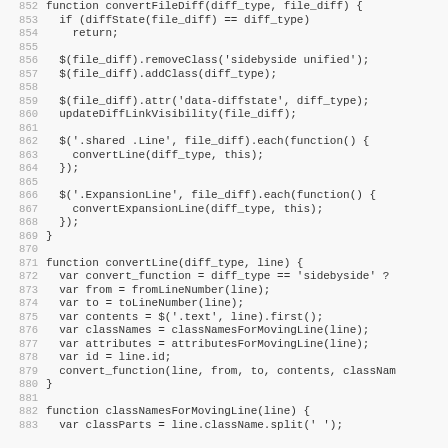[Figure (screenshot): Source code screenshot showing JavaScript functions: convertFileDiff, convertLine, and classNamesForMovingLine, with line numbers 852-883.]